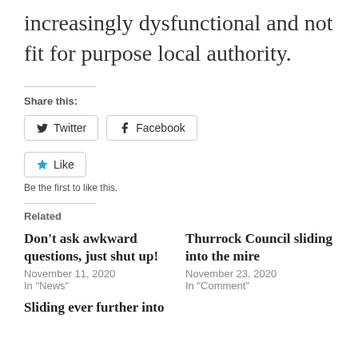increasingly dysfunctional and not fit for purpose local authority.
Share this:
Twitter
Facebook
Like
Be the first to like this.
Related
Don't ask awkward questions, just shut up!
November 11, 2020
In "News"
Thurrock Council sliding into the mire
November 23, 2020
In "Comment"
Sliding ever further into